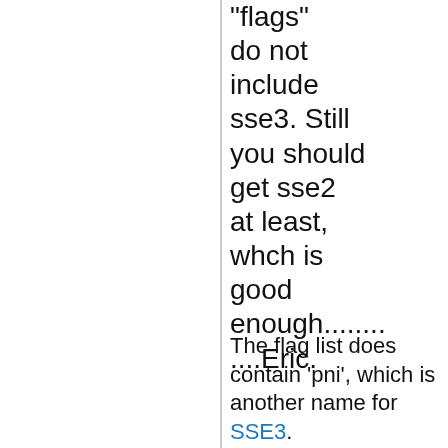"flags" do not include sse3. Still you should get sse2 at least, whch is good enough........ ....Eric.
The flag list does contain 'pni', which is another name for SSE3.